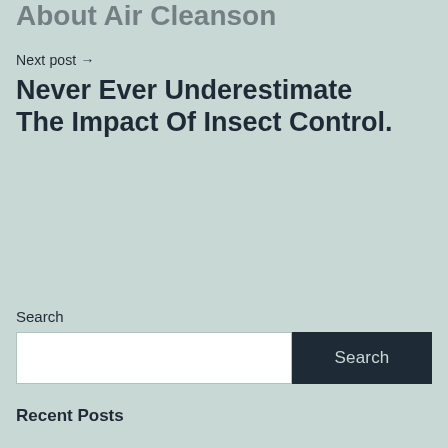About Air Cleanson
Next post →
Never Ever Underestimate The Impact Of Insect Control.
Search
Search
Recent Posts